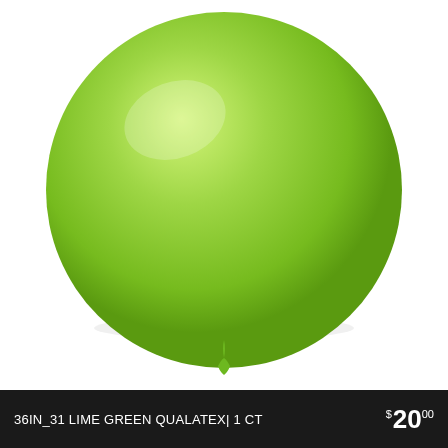[Figure (photo): A large round lime green latex balloon on a white background, with a small green tied tip at the bottom center.]
36IN_31 LIME GREEN QUALATEX| 1 CT   $20.00